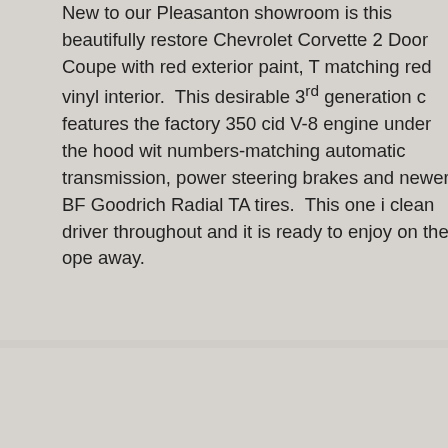New to our Pleasanton showroom is this beautifully restored Chevrolet Corvette 2 Door Coupe with red exterior paint, T matching red vinyl interior. This desirable 3rd generation c features the factory 350 cid V-8 engine under the hood wit numbers-matching automatic transmission, power steering brakes and newer BF Goodrich Radial TA tires. This one i clean driver throughout and it is ready to enjoy on the ope away.
Nicely Documented, Three Owner Lifetime CA M
This 1976 Chevrolet Corvette was originally sold in Californ appears that it has been here its entire life with three differ The current owner took possession of it in 2016 and he in that not much has changed about this reliable driver over t decades. It is an older restoration that has lots of docume most of the original manuals. You'll be pleased to know th performs admirably as well with nice acceleration, smooth and just a great overall feel- you won't find a pure driver at range that's more impressive.
In terms of condition, this 1976 Chevrolet Corvette has a s body that lines up nicely and really impresses. There are a blemishes in the paint but nothing to really detract from th